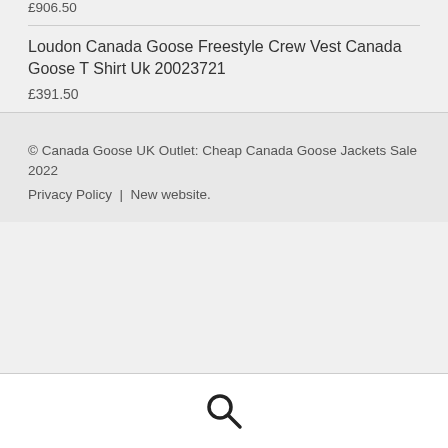£906.50
Loudon Canada Goose Freestyle Crew Vest Canada Goose T Shirt Uk 20023721
£391.50
© Canada Goose UK Outlet: Cheap Canada Goose Jackets Sale 2022
Privacy Policy | New website.
[Figure (other): Search icon (magnifying glass) in the bottom navigation bar]